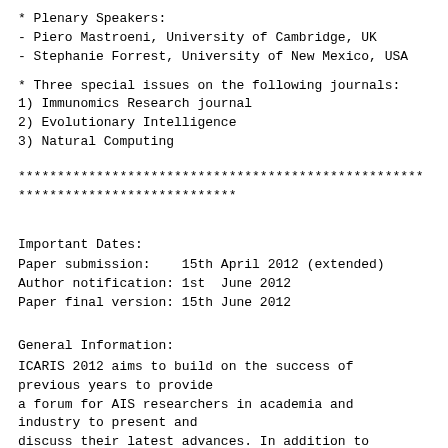* Plenary Speakers:
- Piero Mastroeni, University of Cambridge, UK
- Stephanie Forrest, University of New Mexico, USA
* Three special issues on the following journals:
1) Immunomics Research journal
2) Evolutionary Intelligence
3) Natural Computing
****************************************************
****************************
Important Dates:
Paper submission:    15th April 2012 (extended)
Author notification: 1st  June 2012
Paper final version: 15th June 2012
General Information:
ICARIS 2012 aims to build on the success of
previous years to provide
a forum for AIS researchers in academia and
industry to present and
discuss their latest advances. In addition to
peer-reviewed papers,
ICARIS 2012 will present a range of plenary
lectures and tutorials to
inspire and facilitate both the computer